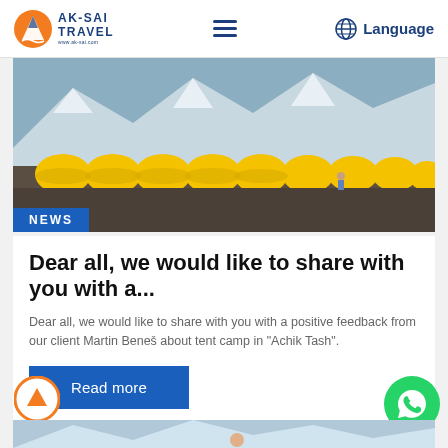AK-SAI TRAVEL | Language
[Figure (photo): Row of yellow dome tents at a mountain base camp with snow-capped peaks in background. NEWS badge overlay at bottom left.]
Dear all, we would like to share with you with a...
Dear all, we would like to share with you with a positive feedback from our client Martin Beneš about tent camp in "Achik Tash".
Read more